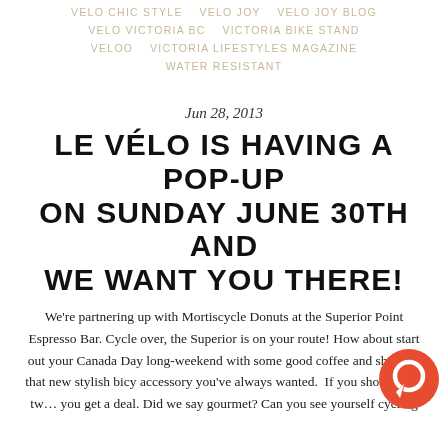VELO CHIC STYLE   VELO JOY   VELO JOY BLOG   VELO VICTORIA BC   VICTORIA BIKE STAND   VELOO   VICTORIA LIFESTYLES MAGAZINE   WATER RESISTANT
Jun 28, 2013
LE VÉLO IS HAVING A POP-UP ON SUNDAY JUNE 30TH AND WE WANT YOU THERE!
We're partnering up with Mortiscycle Donuts at the Superior Point Espresso Bar. Cycle over, the Superior is on your route! How about start out your Canada Day long-weekend with some good coffee and shop for that new stylish bicy accessory you've always wanted.  If you show up on tw ... you get a deal. Did we say gourmet? Can you see yourself cycling